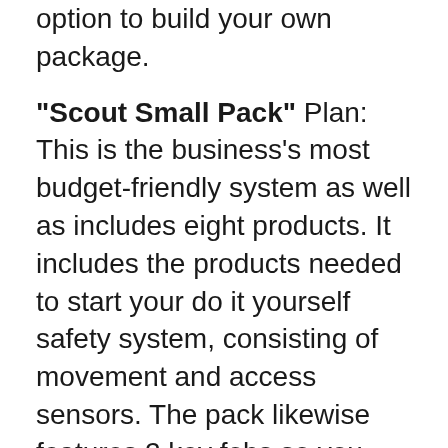option to build your own package.
"Scout Small Pack" Plan: This is the business's most budget-friendly system as well as includes eight products. It includes the products needed to start your do it yourself safety system, consisting of movement and access sensors. The pack likewise features 2 key fobs so you can quickly equip and disarm the system. This pack is best-suited for those who want standard safety and security protection or live in a smaller home.
"Scout Big Pack" Package: If you need to secure a larger area in your home or your residence has numerous gain access to factors, the Scout Large Pack provides a